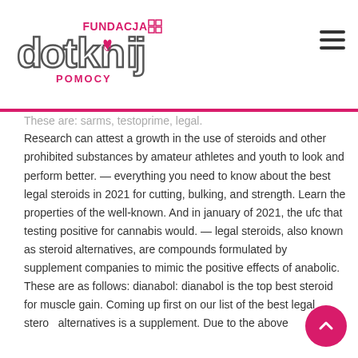Fundacja Dotknij Pomocy - logo and navigation
These are: sarms, testoprime, legal. Research can attest a growth in the use of steroids and other prohibited substances by amateur athletes and youth to look and perform better. — everything you need to know about the best legal steroids in 2021 for cutting, bulking, and strength. Learn the properties of the well-known. And in january of 2021, the ufc that testing positive for cannabis would. — legal steroids, also known as steroid alternatives, are compounds formulated by supplement companies to mimic the positive effects of anabolic. These are as follows: dianabol: dianabol is the top best steroid for muscle gain. Coming up first on our list of the best legal steroid alternatives is a supplement. Due to the above